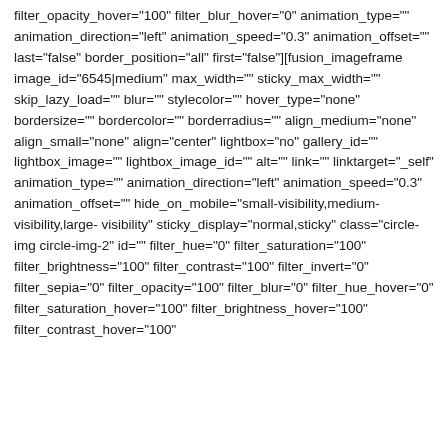filter_opacity_hover="100" filter_blur_hover="0" animation_type="" animation_direction="left" animation_speed="0.3" animation_offset="" last="false" border_position="all" first="false"][fusion_imageframe image_id="6545|medium" max_width="" sticky_max_width="" skip_lazy_load="" blur="" stylecolor="" hover_type="none" bordersize="" bordercolor="" borderradius="" align_medium="none" align_small="none" align="center" lightbox="no" gallery_id="" lightbox_image="" lightbox_image_id="" alt="" link="" linktarget="_self" animation_type="" animation_direction="left" animation_speed="0.3" animation_offset="" hide_on_mobile="small-visibility,medium-visibility,large-visibility" sticky_display="normal,sticky" class="circle-img circle-img-2" id="" filter_hue="0" filter_saturation="100" filter_brightness="100" filter_contrast="100" filter_invert="0" filter_sepia="0" filter_opacity="100" filter_blur="0" filter_hue_hover="0" filter_saturation_hover="100" filter_brightness_hover="100" filter_contrast_hover="100"